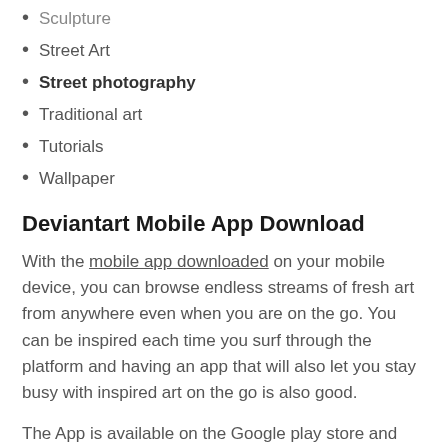Sculpture
Street Art
Street photography
Traditional art
Tutorials
Wallpaper
Deviantart Mobile App Download
With the mobile app downloaded on your mobile device, you can browse endless streams of fresh art from anywhere even when you are on the go. You can be inspired each time you surf through the platform and having an app that will also let you stay busy with inspired art on the go is also good.
The App is available on the Google play store and app store, and you can tap on your device supported store below to download for free.
Deviantart Download For Android